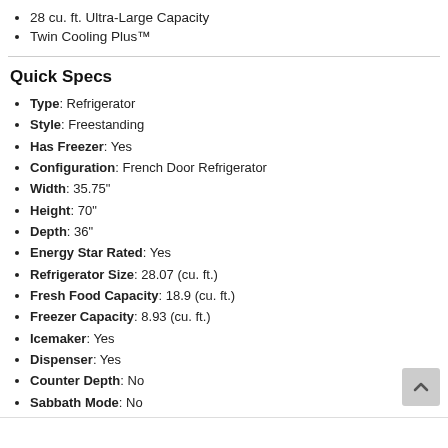28 cu. ft. Ultra-Large Capacity
Twin Cooling Plus™
Quick Specs
Type: Refrigerator
Style: Freestanding
Has Freezer: Yes
Configuration: French Door Refrigerator
Width: 35.75"
Height: 70"
Depth: 36"
Energy Star Rated: Yes
Refrigerator Size: 28.07 (cu. ft.)
Fresh Food Capacity: 18.9 (cu. ft.)
Freezer Capacity: 8.93 (cu. ft.)
Icemaker: Yes
Dispenser: Yes
Counter Depth: No
Sabbath Mode: No
WiFi Connected: No
See More